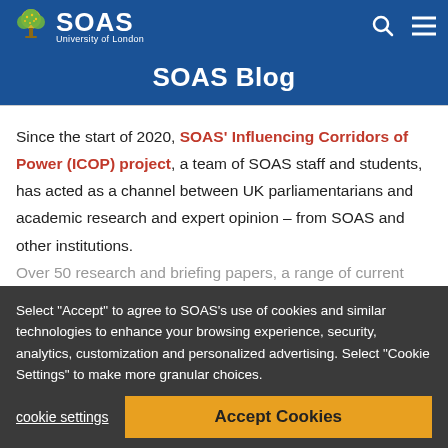SOAS University of London
SOAS Blog
Since the start of 2020, SOAS' Influencing Corridors of Power (ICOP) project, a team of SOAS staff and students, has acted as a channel between UK parliamentarians and academic research and expert opinion – from SOAS and other institutions.
Over 50 research and briefing papers, a range of current political topics – have been shared in mailings and social media to an audience of over 1,000 MPs, peers, and other key politic…
Select "Accept" to agree to SOAS's use of cookies and similar technologies to enhance your browsing experience, security, analytics, customization and personalized advertising. Select "Cookie Settings" to make more granular choices.
cookie settings   Accept Cookies